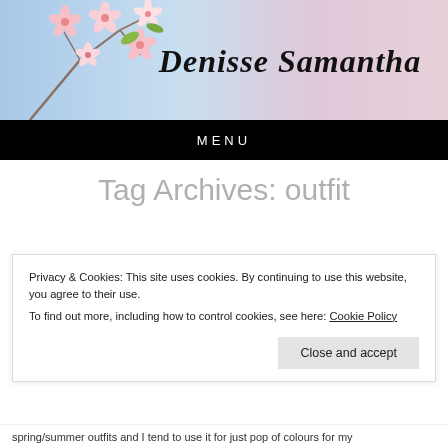[Figure (illustration): Blog header banner with cherry blossom flowers on the left and a gradient background from blue to pink. Text 'Denisse Samantha' in cursive script on the right.]
MENU
Tag Archives: outfit
Privacy & Cookies: This site uses cookies. By continuing to use this website, you agree to their use.
To find out more, including how to control cookies, see here: Cookie Policy
Close and accept
spring/summer outfits and I tend to use it for just pop of colours for my